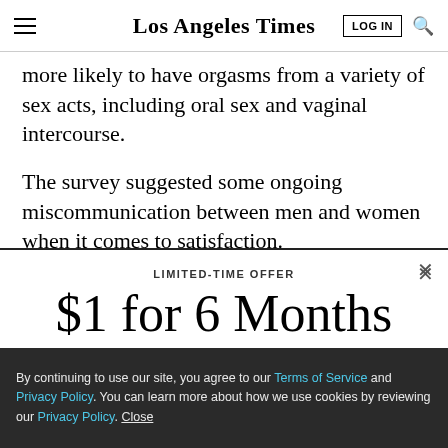Los Angeles Times
more likely to have orgasms from a variety of sex acts, including oral sex and vaginal intercourse.
The survey suggested some ongoing miscommunication between men and women when it comes to satisfaction.
LIMITED-TIME OFFER
$1 for 6 Months
SUBSCRIBE NOW
By continuing to use our site, you agree to our Terms of Service and Privacy Policy. You can learn more about how we use cookies by reviewing our Privacy Policy. Close